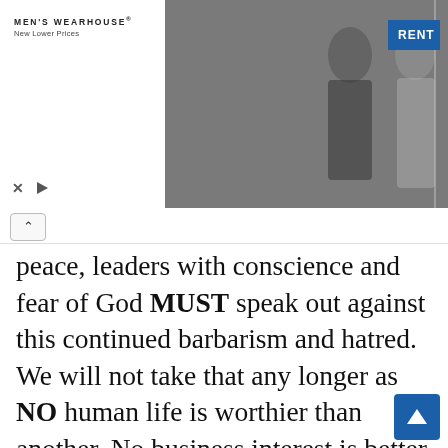[Figure (screenshot): Men's Wearhouse advertisement banner showing a couple in formal wear (man in dark suit/tuxedo, woman in evening gown) and a man in a suit on the right side, with a blue RENT button]
peace, leaders with conscience and fear of God MUST speak out against this continued barbarism and hatred. We will not take that any longer as NO human life is worthier than another. No business interest is better than another. In fact, in crisis situation, the South has more to lose in terms of its business interests in the North and the strategic nature they established themselves in the North than Northerners living in the South. The North very much aware of such weaknesses and